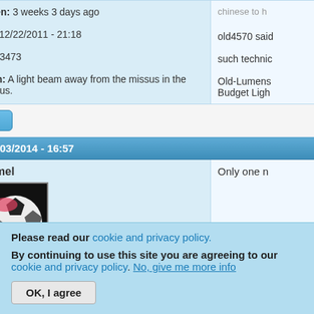Last seen: 3 weeks 3 days ago
Joined: 12/22/2011 - 21:18
Posts: 13473
Location: A light beam away from the missus in the land of Aus.
old4570 said
such technic
Old-Lumens
Budget Ligh
Top
Tue, 06/03/2014 - 16:57
Jerommel
Only one n
Please read our cookie and privacy policy. By continuing to use this site you are agreeing to our cookie and privacy policy. No, give me more info
OK, I agree